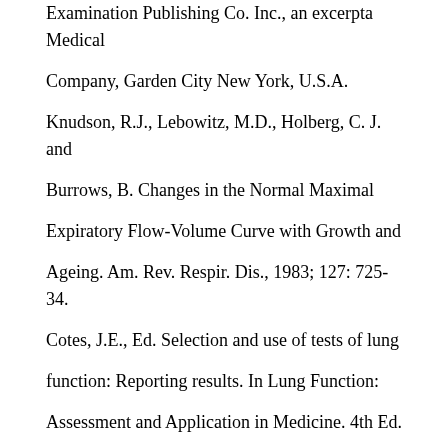Examination Publishing Co. Inc., an excerpta Medical Company, Garden City New York, U.S.A.
Knudson, R.J., Lebowitz, M.D., Holberg, C. J. and Burrows, B. Changes in the Normal Maximal Expiratory Flow-Volume Curve with Growth and Ageing. Am. Rev. Respir. Dis., 1983; 127: 725-34.
Cotes, J.E., Ed. Selection and use of tests of lung function: Reporting results. In Lung Function: Assessment and Application in Medicine. 4th Ed. (1979), pp 329-87. Blackwell Scientific Publications, Oxford.